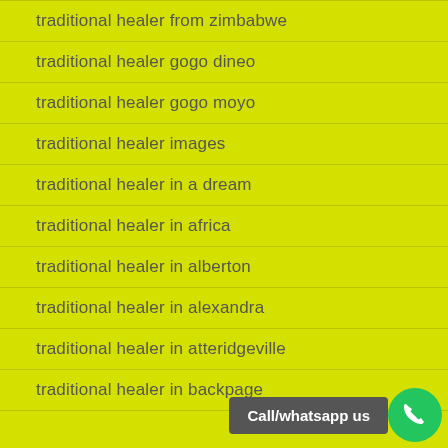traditional healer from zimbabwe
traditional healer gogo dineo
traditional healer gogo moyo
traditional healer images
traditional healer in a dream
traditional healer in africa
traditional healer in alberton
traditional healer in alexandra
traditional healer in atteridgeville
traditional healer in backpage
Call/whatsapp us